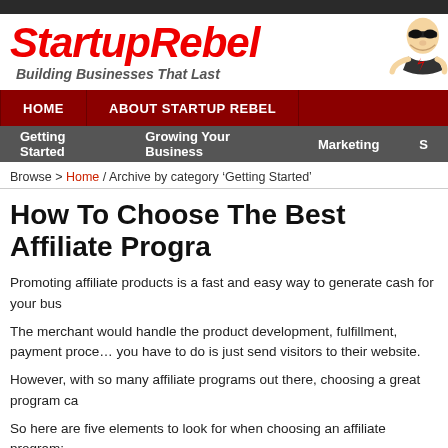[Figure (logo): StartupRebel logo with red italic bold text and mascot ninja/rebel figure illustration, tagline 'Building Businesses That Last']
HOME  ABOUT STARTUP REBEL
Getting Started  Growing Your Business  Marketing  S
Browse > Home / Archive by category 'Getting Started'
How To Choose The Best Affiliate Progra
Promoting affiliate products is a fast and easy way to generate cash for your bus
The merchant would handle the product development, fulfillment, payment proce... you have to do is just send visitors to their website.
However, with so many affiliate programs out there, choosing a great program ca
So here are five elements to look for when choosing an affiliate program:
1. Conversion rate
The first and most important element in an affiliate program is the conversion r